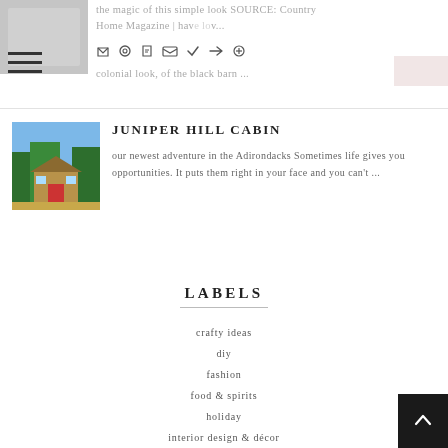the magic of this simple look SOURCE: Country Home Magazine | have lov... classic, colonial look, of the black barn ...
[Figure (photo): Thumbnail photo of a cabin with trees and blue sky]
JUNIPER HILL CABIN
our newest adventure in the Adirondacks Sometimes life gives you opportunities. It puts them right in your face and you can't ...
LABELS
crafty ideas
diy
fashion
food & spirits
holiday
interior design & décor
linky parties
my nest